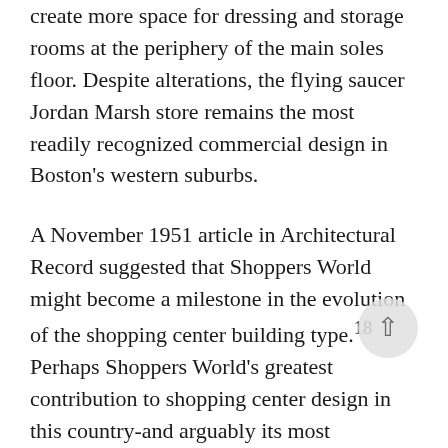create more space for dressing and storage rooms at the periphery of the main soles floor. Despite alterations, the flying saucer Jordan Marsh store remains the most readily recognized commercial design in Boston's western suburbs.
A November 1951 article in Architectural Record suggested that Shoppers World might become a milestone in the evolution of the shopping center building type.¹⁸ Perhaps Shoppers World's greatest contribution to shopping center design in this country-and arguably its most significant feature today-is not the circular, domed deportment store, but the storelined, open-air pedestrian mall, 100 feet wide and 675 feet long. The